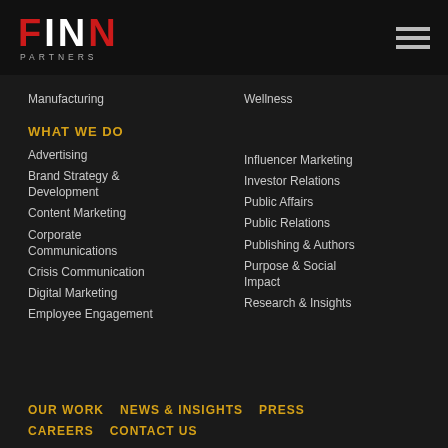[Figure (logo): FINN PARTNERS logo with red F and last N, white I and first N, and PARTNERS subtitle in gray]
Wellness
Manufacturing
WHAT WE DO
Advertising
Brand Strategy & Development
Content Marketing
Corporate Communications
Crisis Communication
Digital Marketing
Employee Engagement
Influencer Marketing
Investor Relations
Public Affairs
Public Relations
Publishing & Authors
Purpose & Social Impact
Research & Insights
OUR WORK    NEWS & INSIGHTS    PRESS    CAREERS    CONTACT US